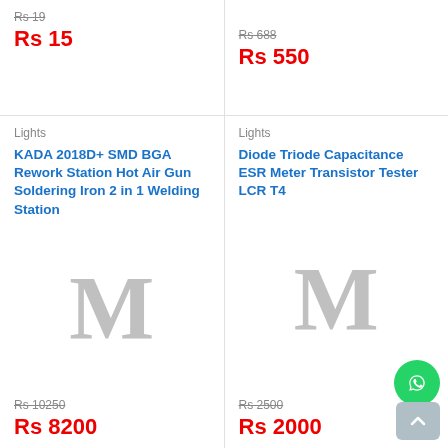Rs 19 (strikethrough)
Rs 15
Rs 688 (strikethrough)
Rs 550
Lights
KADA 2018D+ SMD BGA Rework Station Hot Air Gun Soldering Iron 2 in 1 Welding Station
[Figure (illustration): Placeholder image with large grey letter M]
Rs 10250 (strikethrough)
Rs 8200
Lights
Diode Triode Capacitance ESR Meter Transistor Tester LCR T4
[Figure (illustration): Placeholder image with large grey letter M]
Rs 2500 (strikethrough)
Rs 2000